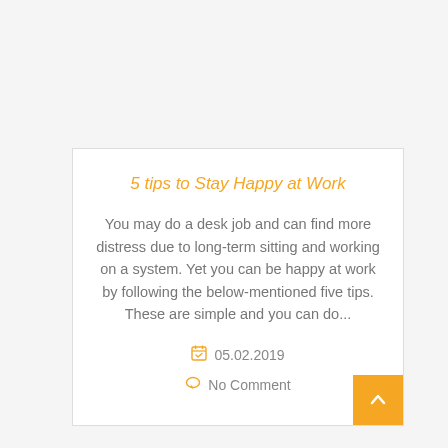5 tips to Stay Happy at Work
You may do a desk job and can find more distress due to long-term sitting and working on a system. Yet you can be happy at work by following the below-mentioned five tips. These are simple and you can do...
05.02.2019
No Comment